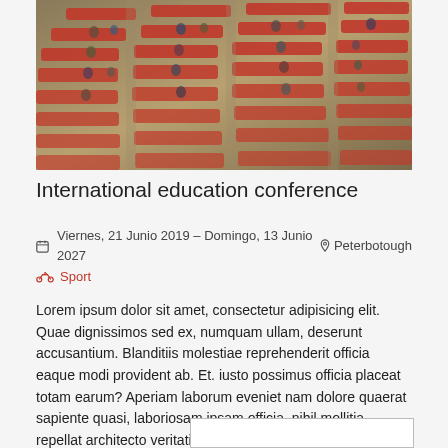[Figure (photo): Aerial view of auditorium filled with people seated in red chairs, viewed from above at an angle]
International education conference
📅 Viernes, 21 Junio 2019 – Domingo, 13 Junio 2027   📍 Peterbotough
🚲 Sport
Lorem ipsum dolor sit amet, consectetur adipisicing elit. Quae dignissimos sed ex, numquam ullam, deserunt accusantium. Blanditiis molestiae reprehenderit officia eaque modi provident ab. Et. iusto possimus officia placeat totam earum? Aperiam laborum eveniet nam dolore quaerat sapiente quasi, laboriosam ipsam officia, nihil mollitia repellat architecto veritatis possimus tenetur reprehenderit.